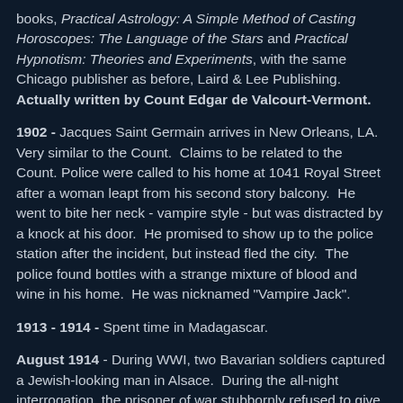books, Practical Astrology: A Simple Method of Casting Horoscopes: The Language of the Stars and Practical Hypnotism: Theories and Experiments, with the same Chicago publisher as before, Laird & Lee Publishing. Actually written by Count Edgar de Valcourt-Vermont.
1902 - Jacques Saint Germain arrives in New Orleans, LA. Very similar to the Count. Claims to be related to the Count. Police were called to his home at 1041 Royal Street after a woman leapt from his second story balcony. He went to bite her neck - vampire style - but was distracted by a knock at his door. He promised to show up to the police station after the incident, but instead fled the city. The police found bottles with a strange mixture of blood and wine in his home. He was nicknamed "Vampire Jack".
1913 - 1914 - Spent time in Madagascar.
August 1914 - During WWI, two Bavarian soldiers captured a Jewish-looking man in Alsace. During the all-night interrogation, the prisoner of war stubbornly refused to give his name. Suddenly, in the early hours of the morning, the